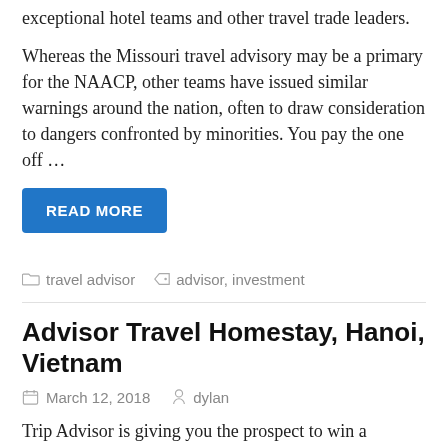exceptional hotel teams and other travel trade leaders.
Whereas the Missouri travel advisory may be a primary for the NAACP, other teams have issued similar warnings around the nation, often to draw consideration to dangers confronted by minorities. You pay the one off …
READ MORE
travel advisor   advisor, investment
Advisor Travel Homestay, Hanoi, Vietnam
March 12, 2018   dylan
Trip Advisor is giving you the prospect to win a $10,000 prize that you should use to create your dream vacation in the Highway Trips Sweepstakes. Our journey professionals have a median of 20 years of journey business expertise. The NAACP's advisory also cites the newest lawyer normal's report showing black drivers in Missouri had been 75 percent